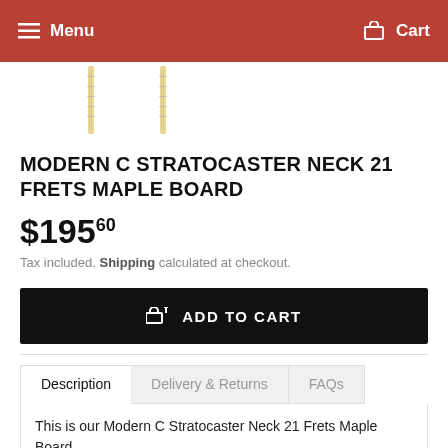Menu  Cart
[Figure (photo): Partial view of two guitar neck products against white background]
MODERN C STRATOCASTER NECK 21 FRETS MAPLE BOARD
$195.60
Tax included. Shipping calculated at checkout.
ADD TO CART
Description  Delivery & Returns  FAQs
This is our Modern C Stratocaster Neck 21 Frets Maple Board.